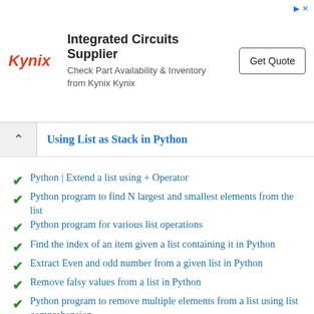[Figure (other): Kynix advertisement banner with logo, title 'Integrated Circuits Supplier', subtitle 'Check Part Availability & Inventory from Kynix Kynix', and a 'Get Quote' button]
Using List as Stack in Python
Python | Extend a list using + Operator
Python program to find N largest and smallest elements from the list
Python program for various list operations
Find the index of an item given a list containing it in Python
Extract Even and odd number from a given list in Python
Remove falsy values from a list in Python
Python program to remove multiple elements from a list using list comprehension
Check all elements of a list are the same or not in Python